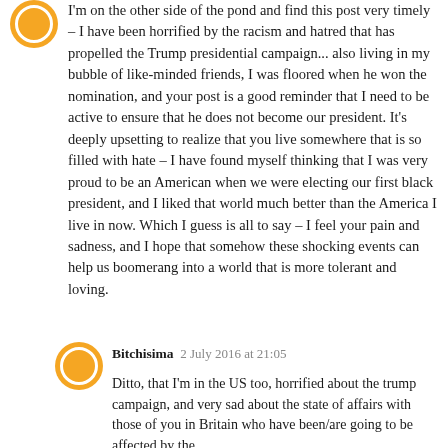I'm on the other side of the pond and find this post very timely – I have been horrified by the racism and hatred that has propelled the Trump presidential campaign... also living in my bubble of like-minded friends, I was floored when he won the nomination, and your post is a good reminder that I need to be active to ensure that he does not become our president. It's deeply upsetting to realize that you live somewhere that is so filled with hate – I have found myself thinking that I was very proud to be an American when we were electing our first black president, and I liked that world much better than the America I live in now. Which I guess is all to say – I feel your pain and sadness, and I hope that somehow these shocking events can help us boomerang into a world that is more tolerant and loving.
Bitchisima  2 July 2016 at 21:05
Ditto, that I'm in the US too, horrified about the trump campaign, and very sad about the state of affairs with those of you in Britain who have been/are going to be affected by the